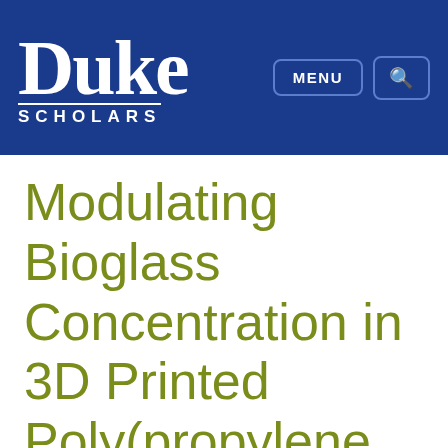Duke Scholars
Modulating Bioglass Concentration in 3D Printed Poly(propylene fumarate) Scaffolds for Post-Printing Functionalization